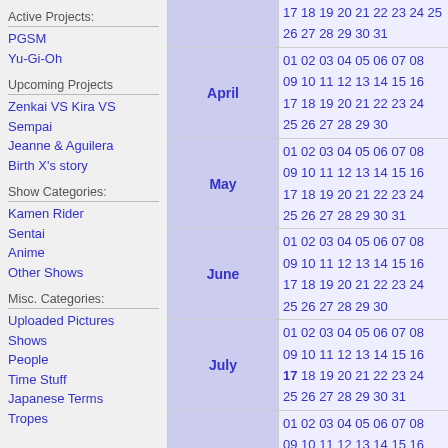Active Projects:
PGSM
Yu-Gi-Oh
Upcoming Projects
Zenkai VS Kira VS Sempai
Jeanne & Aguilera
Birth X's story
Show Categories:
Kamen Rider
Sentai
Anime
Other Shows
Misc. Categories:
Uploaded Pictures
Shows
People
Time Stuff
Japanese Terms
Tropes
| Month | Days |
| --- | --- |
| (partial) | 17 18 19 20 21 22 23 24 / 25 26 27 28 29 30 31 |
| April | 01 02 03 04 05 06 07 08 / 09 10 11 12 13 14 15 16 / 17 18 19 20 21 22 23 24 / 25 26 27 28 29 30 |
| May | 01 02 03 04 05 06 07 08 / 09 10 11 12 13 14 15 16 / 17 18 19 20 21 22 23 24 / 25 26 27 28 29 30 31 |
| June | 01 02 03 04 05 06 07 08 / 09 10 11 12 13 14 15 16 / 17 18 19 20 21 22 23 24 / 25 26 27 28 29 30 |
| July | 01 02 03 04 05 06 07 08 / 09 10 11 12 13 14 15 16 / 17 18 19 20 21 22 23 24 / 25 26 27 28 29 30 31 |
| August | 01 02 03 04 05 06 07 08 / 09 10 11 12 13 14 15 16 / 17 18 19 20 21 22 23 24 / 25 26 27 28 29 30 31 |
| (partial) | 01 02 03 04 05 06 07 08 |